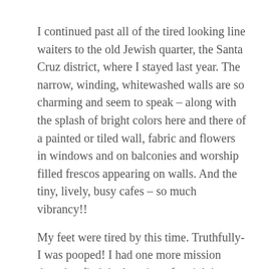I continued past all of the tired looking line waiters to the old Jewish quarter, the Santa Cruz district, where I stayed last year. The narrow, winding, whitewashed walls are so charming and seem to speak – along with the splash of bright colors here and there of a painted or tiled wall, fabric and flowers in windows and on balconies and worship filled frescos appearing on walls. And the tiny, lively, busy cafes – so much vibrancy!!

My feet were tired by this time. Truthfully- I was pooped! I had one more mission though – find the location of tonight's Flamenco performance and retrace a route to my hotel so that I could make my way back later. If I didn't get too lost I would have time for a shower and a rest!! Mission